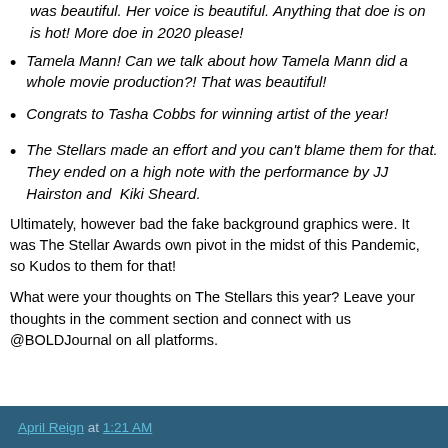was beautiful. Her voice is beautiful. Anything that doe is on is hot! More doe in 2020 please!
Tamela Mann! Can we talk about how Tamela Mann did a whole movie production?! That was beautiful!
Congrats to Tasha Cobbs for winning artist of the year!
The Stellars made an effort and you can't blame them for that. They ended on a high note with the performance by JJ Hairston and  Kiki Sheard.
Ultimately, however bad the fake background graphics were. It was The Stellar Awards own pivot in the midst of this Pandemic, so Kudos to them for that!
What were your thoughts on The Stellars this year? Leave your thoughts in the comment section and connect with us @BOLDJournal on all platforms.
April Reign at 1:21 AM